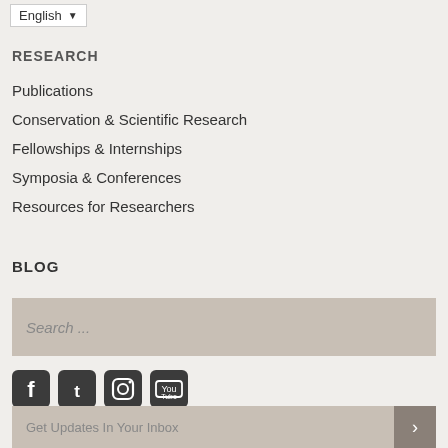English
RESEARCH
Publications
Conservation & Scientific Research
Fellowships & Internships
Symposia & Conferences
Resources for Researchers
BLOG
Search ...
[Figure (other): Social media icons: Facebook, Twitter, Instagram, YouTube]
Get Updates In Your Inbox